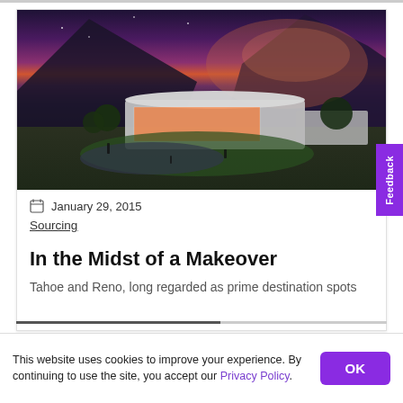[Figure (photo): Aerial dusk/night view of a modern building with mountain backdrop, purple and orange sky, and landscaped surroundings.]
January 29, 2015
Sourcing
In the Midst of a Makeover
Tahoe and Reno, long regarded as prime destination spots...
This website uses cookies to improve your experience. By continuing to use the site, you accept our Privacy Policy.